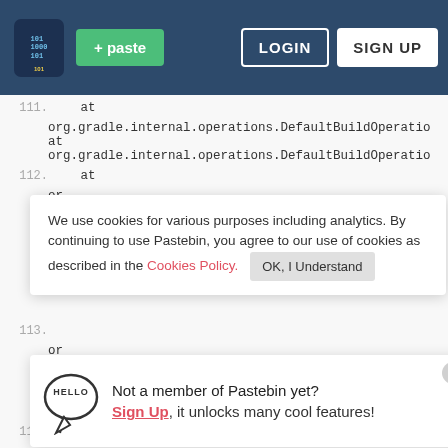Pastebin navigation bar with paste button, LOGIN, SIGN UP
111.    at
    org.gradle.internal.operations.DefaultBuildOperatio
    at
    org.gradle.internal.operations.DefaultBuildOperatio
112.    at
or
at
or
We use cookies for various purposes including analytics. By continuing to use Pastebin, you agree to our use of cookies as described in the Cookies Policy.   OK, I Understand
113.
or
at
or
Not a member of Pastebin yet? Sign Up, it unlocks many cool features!
114.    at
    org.gradle.initialization.DefaultSettingsLoader.find
    at
    org.gradle.initialization.DefaultSettingsLoader.find
115.    at